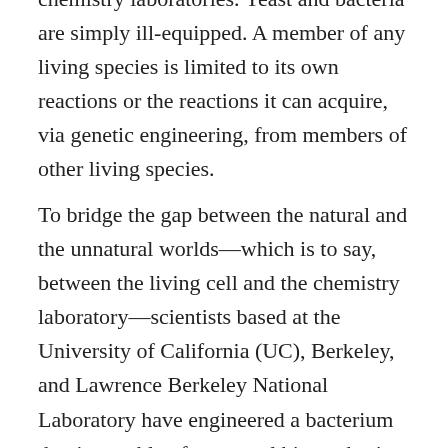chemistry laboratories. Yeast and bacteria are simply ill-equipped. A member of any living species is limited to its own reactions or the reactions it can acquire, via genetic engineering, from members of other living species.
To bridge the gap between the natural and the unnatural worlds—which is to say, between the living cell and the chemistry laboratory—scientists based at the University of California (UC), Berkeley, and Lawrence Berkeley National Laboratory have engineered a bacterium that is capable of unnatural biosynthesis. This bacterium can express natural and artificial enzymes that work together in a heterologous biosynthetic pathway. Continuing reading...